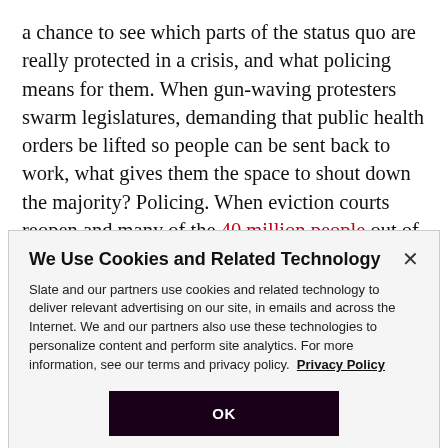a chance to see which parts of the status quo are really protected in a crisis, and what policing means for them. When gun-waving protesters swarm legislatures, demanding that public health orders be lifted so people can be sent back to work, what gives them the space to shout down the majority? Policing. When eviction courts reopen and many of the 40 million people out of work are evicted, how will that be carried out? Policing.
We Use Cookies and Related Technology

Slate and our partners use cookies and related technology to deliver relevant advertising on our site, in emails and across the Internet. We and our partners also use these technologies to personalize content and perform site analytics. For more information, see our terms and privacy policy. Privacy Policy

OK